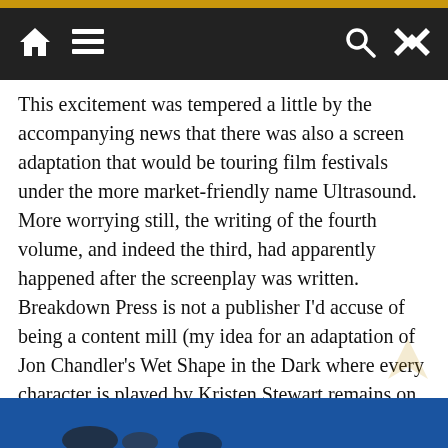navigation bar with home, menu, search, and shuffle icons
This excitement was tempered a little by the accompanying news that there was also a screen adaptation that would be touring film festivals under the more market-friendly name Ultrasound. More worrying still, the writing of the fourth volume, and indeed the third, had apparently happened after the screenplay was written. Breakdown Press is not a publisher I'd accuse of being a content mill (my idea for an adaptation of Jon Chandler's Wet Shape in the Dark where every character is played by Kristen Stewart remains on the table), but I was concerned my wish for a conclusion to Generous Bosom was going to be granted with monkey's paw conditions.
[Figure (photo): Partial view of a photograph with blue background, bottom of page]